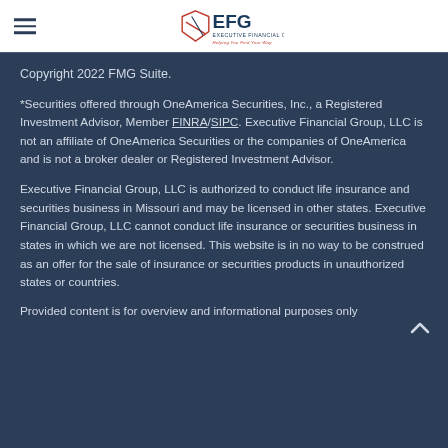EFG Executive Financial Group - Helping You Find Your Way
Copyright 2022 FMG Suite.
*Securities offered through OneAmerica Securities, Inc., a Registered Investment Advisor, Member FINRA/SIPC. Executive Financial Group, LLC is not an affiliate of OneAmerica Securities or the companies of OneAmerica and is not a broker dealer or Registered Investment Advisor.
Executive Financial Group, LLC is authorized to conduct life insurance and securities business in Missouri and may be licensed in other states. Executive Financial Group, LLC cannot conduct life insurance or securities business in states in which we are not licensed. This website is in no way to be construed as an offer for the sale of insurance or securities products in unauthorized states or countries.
Provided content is for overview and informational purposes only